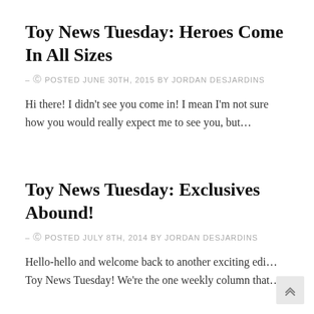Toy News Tuesday: Heroes Come In All Sizes
– © POSTED JUNE 30TH, 2015 BY JORDAN DESJARDINS
Hi there! I didn't see you come in! I mean I'm not sure how you would really expect me to see you, but…
Toy News Tuesday: Exclusives Abound!
– © POSTED JULY 8TH, 2014 BY JORDAN DESJARDINS
Hello-hello and welcome back to another exciting edi… Toy News Tuesday! We're the one weekly column tha…